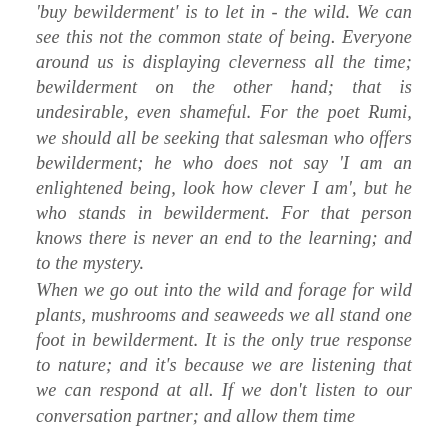'buy bewilderment' is to let in - the wild. We can see this not the common state of being. Everyone around us is displaying cleverness all the time; bewilderment on the other hand; that is undesirable, even shameful. For the poet Rumi, we should all be seeking that salesman who offers bewilderment; he who does not say 'I am an enlightened being, look how clever I am', but he who stands in bewilderment. For that person knows there is never an end to the learning; and to the mystery.
When we go out into the wild and forage for wild plants, mushrooms and seaweeds we all stand one foot in bewilderment. It is the only true response to nature; and it's because we are listening that we can respond at all. If we don't listen to our conversation partner; and allow them time